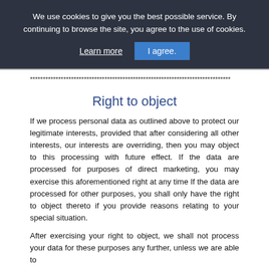We use cookies to give you the best possible service. By continuing to browse the site, you agree to the use of cookies. Learn more  I agree.
******************************************************************************
Right to object
If we process personal data as outlined above to protect our legitimate interests, provided that after considering all other interests, our interests are overriding, then you may object to this processing with future effect. If the data are processed for purposes of direct marketing, you may exercise this aforementioned right at any time If the data are processed for other purposes, you shall only have the right to object thereto if you provide reasons relating to your special situation.
After exercising your right to object, we shall not process your data for these purposes any further, unless we are able to